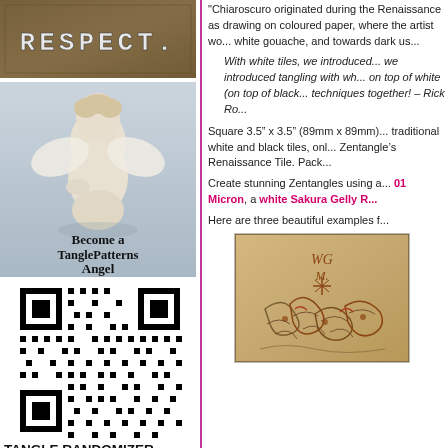[Figure (photo): Photo of a stone or metal plaque with the word RESPECT carved or embossed]
[Figure (photo): Photo of a cherub/angel figurine with text overlay: Become a TanglePatterns Angel]
[Figure (other): QR code linking to TanglePatterns resource]
TANGLE RANDOMIZER
How to draw EAU
How to draw AYDEE
"Chiaroscuro originated during the Renaissance as drawing on coloured paper, where the artist wo... white gouache, and towards dark us...
With white tiles, we introduced... we introduced tangling with wh... on top of white (on top of black... techniques together! – Rick Ro...
Square 3.5" x 3.5" (89mm x 89mm)... traditional white and black tiles, onl... Zentangle's Renaissance Tile. Pack...
Create stunning Zentangles using a... 01 Micron, a white Sakura Gelly R...
Here are three beautiful examples f...
[Figure (photo): Photo of a Renaissance tile with Zentangle drawing, warm tan/kraft colored paper with ink patterns]